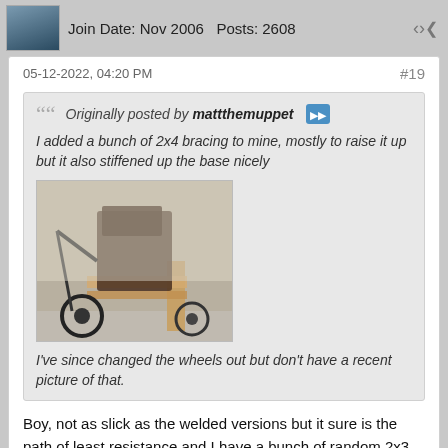Join Date: Nov 2006  Posts: 2608
05-12-2022, 04:20 PM  #19
Originally posted by mattthemuppet
I added a bunch of 2x4 bracing to mine, mostly to raise it up but it also stiffened up the base nicely
I've since changed the wheels out but don't have a recent picture of that.
[Figure (photo): Photo of a homemade cart or stand with 2x4 bracing and wheels, possibly a welding cart or engine stand, shown in a garage setting.]
Boy, not as slick as the welded versions but it sure is the path of least resistance and I have a bunch of random 2x3 pieces sitting around. I'd put mine on 3 casters that I have.
Location: Jersey City NJ USA
Hawkeve